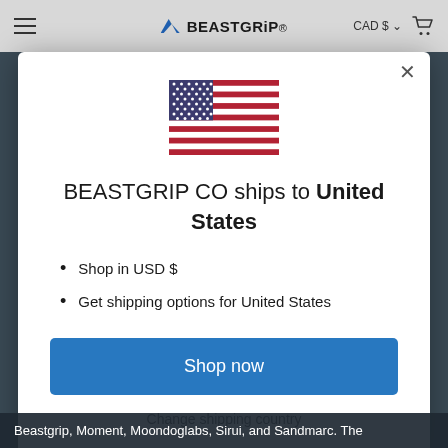BEASTGRIP  CAD $  [cart]
[Figure (illustration): US flag SVG illustration]
BEASTGRIP CO ships to United States
Shop in USD $
Get shipping options for United States
Shop now
Change shipping country
Beastgrip, Moment, Moondoglabs, Sirui, and Sandmarc. The